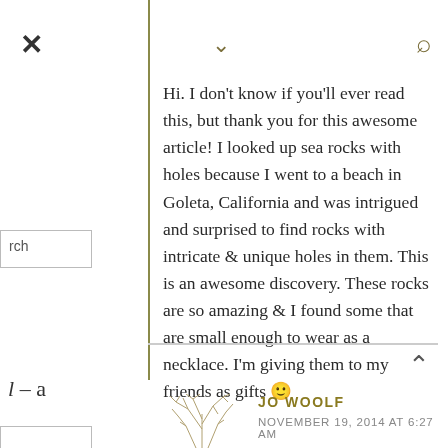× (close button)
∨ (chevron down)
🔍 (search icon)
Hi. I don't know if you'll ever read this, but thank you for this awesome article! I looked up sea rocks with holes because I went to a beach in Goleta, California and was intrigued and surprised to find rocks with intricate & unique holes in them. This is an awesome discovery. These rocks are so amazing & I found some that are small enough to wear as a necklace. I'm giving them to my friends as gifts 🙂
∧ (chevron up)
l – a
JO WOOLF
NOVEMBER 19, 2014 AT 6:27 AM